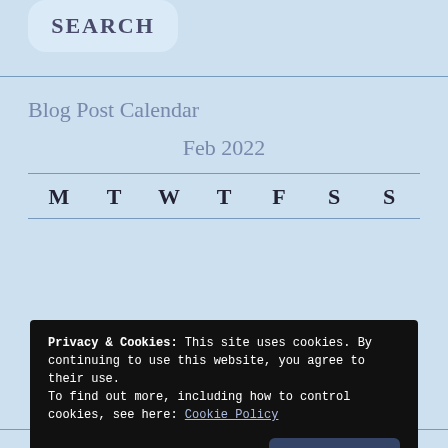[Figure (other): Search box with rounded corners and label SEARCH]
Blog Post Calendar
Feb 2022
| M | T | W | T | F | S | S |
| --- | --- | --- | --- | --- | --- | --- |
Privacy & Cookies: This site uses cookies. By continuing to use this website, you agree to their use.
To find out more, including how to control cookies, see here: Cookie Policy
Close and accept